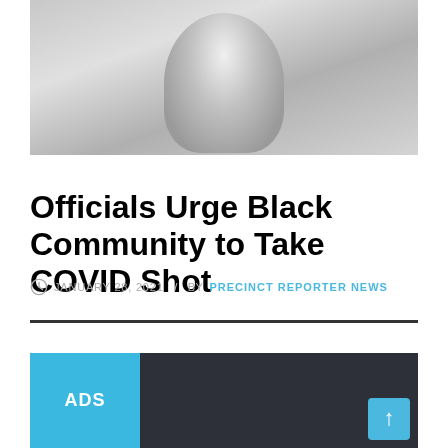[Figure (photo): A blurred/low-resolution photo of a person, appears to be a woman, light background, partially cropped at top.]
Officials Urge Black Community to Take COVID Shot
JANUARY 28, 2021 / BY PRECINCT REPORTER NEWS
ADS